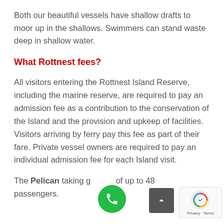Both our beautiful vessels have shallow drafts to moor up in the shallows. Swimmers can stand waste deep in shallow water.
What Rottnest fees?
All visitors entering the Rottnest Island Reserve, including the marine reserve, are required to pay an admission fee as a contribution to the conservation of the Island and the provision and upkeep of facilities. Visitors arriving by ferry pay this fee as part of their fare. Private vessel owners are required to pay an individual admission fee for each Island visit.
The Pelican taking groups of up to 48 passengers.